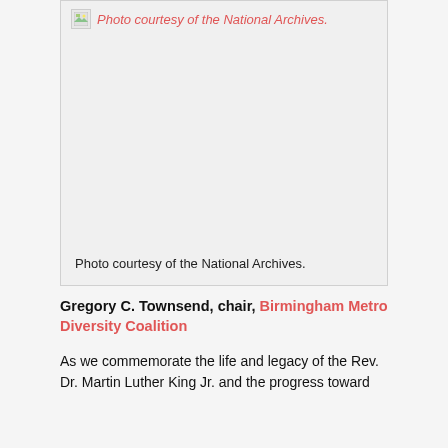[Figure (photo): A photo placeholder with broken image icon and caption 'Photo courtesy of the National Archives.' shown at top in red italic, and again at bottom in black.]
Photo courtesy of the National Archives.
Gregory C. Townsend, chair, Birmingham Metro Diversity Coalition
As we commemorate the life and legacy of the Rev. Dr. Martin Luther King Jr. and the progress toward